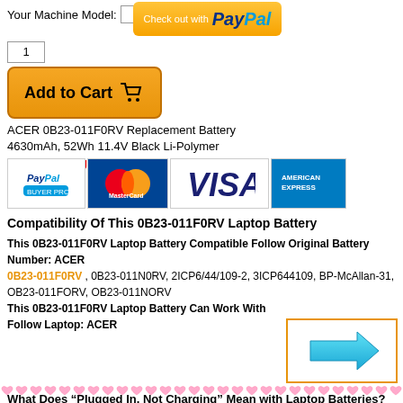Your Machine Model: [input field] *
[Figure (screenshot): Check out with PayPal button (orange/yellow gradient)]
1 [quantity box]
[Figure (screenshot): Add to Cart button with shopping cart icon (orange/yellow gradient)]
ACER 0B23-011F0RV Replacement Battery 4630mAh, 52Wh 11.4V Black Li-Polymer
( Free Shipping In USA )
[Figure (logo): Payment icons: PayPal, MasterCard, VISA, American Express]
Compatibility Of This 0B23-011F0RV Laptop Battery
This 0B23-011F0RV Laptop Battery Compatible Follow Original Battery Number: ACER
0B23-011F0RV , 0B23-011N0RV, 2ICP6/44/109-2, 3ICP644109, BP-McAllan-31, OB23-011FORV, OB23-011NORV
This 0B23-011F0RV Laptop Battery Can Work With Follow Laptop: ACER
[Figure (illustration): Orange-bordered box with a blue arrow pointing right]
[Figure (illustration): Decorative pink hearts pattern border row]
What Does “Plugged In, Not Charging” Mean with Laptop Batteries?